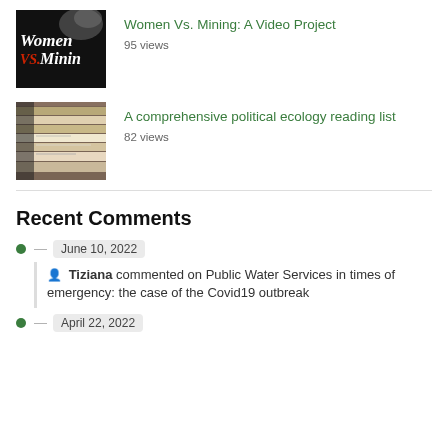[Figure (photo): Thumbnail image for 'Women Vs. Mining: A Video Project' — black background with white cursive text 'Women vs. Mining' and red 'VS.' text]
Women Vs. Mining: A Video Project
95 views
[Figure (photo): Thumbnail image showing stacked books on shelves]
A comprehensive political ecology reading list
82 views
Recent Comments
June 10, 2022
Tiziana commented on Public Water Services in times of emergency: the case of the Covid19 outbreak
April 22, 2022